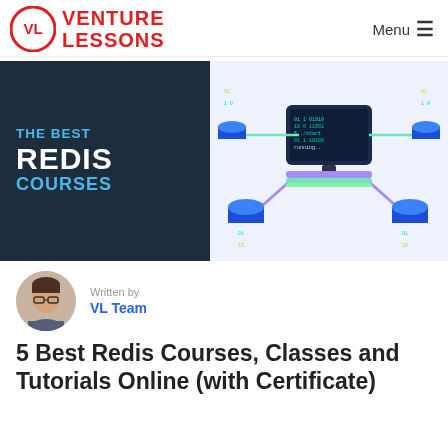VENTURE LESSONS   Menu ≡
[Figure (illustration): Hero image split: left dark panel with text 'THE BEST REDIS COURSES' in blue and white on dark background; right panel showing isometric illustration of a computer server/database node connected to multiple cylinders with binary data streams.]
Written by
VL Team
5 Best Redis Courses, Classes and Tutorials Online (with Certificate)